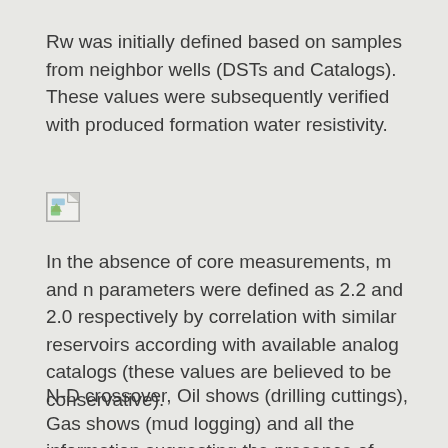Rw was initially defined based on samples from neighbor wells (DSTs and Catalogs). These values were subsequently verified with produced formation water resistivity.
[Figure (other): Broken/missing image placeholder icon (small image with torn corner, green and blue color fragments)]
In the absence of core measurements, m and n parameters were defined as 2.2 and 2.0 respectively by correlation with similar reservoirs according with available analog catalogs (these values are believed to be conservative).
N-D crossover, Oil shows (drilling cuttings), Gas shows (mud logging) and all the information suggesting the presence of hydrocarbons was integrated and put in